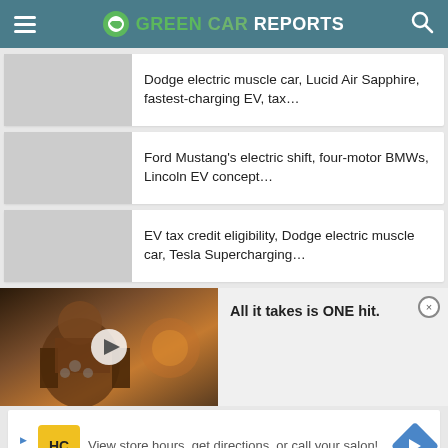GREEN CAR REPORTS
Dodge electric muscle car, Lucid Air Sapphire, fastest-charging EV, tax...
Ford Mustang's electric shift, four-motor BMWs, Lincoln EV concept...
EV tax credit eligibility, Dodge electric muscle car, Tesla Supercharging...
[Figure (screenshot): Video advertisement thumbnail showing animated game character with play button overlay, with text 'All it takes is ONE hit.']
[Figure (screenshot): Banner advertisement: View store hours, get directions, or call your salon! with HC logo and navigation arrow icon]